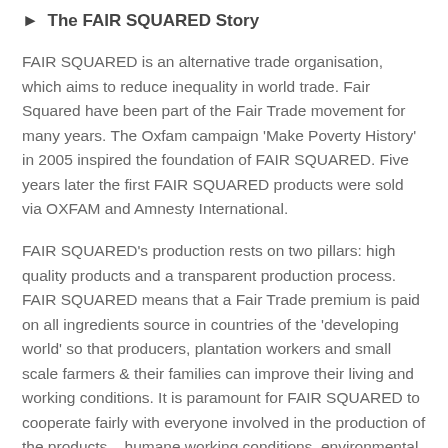► The FAIR SQUARED Story
FAIR SQUARED is an alternative trade organisation, which aims to reduce inequality in world trade. Fair Squared have been part of the Fair Trade movement for many years. The Oxfam campaign 'Make Poverty History' in 2005 inspired the foundation of FAIR SQUARED. Five years later the first FAIR SQUARED products were sold via OXFAM and Amnesty International.
FAIR SQUARED's production rests on two pillars: high quality products and a transparent production process. FAIR SQUARED means that a Fair Trade premium is paid on all ingredients source in countries of the 'developing world' so that producers, plantation workers and small scale farmers & their families can improve their living and working conditions. It is paramount for FAIR SQUARED to cooperate fairly with everyone involved in the production of the products – humane working conditions, environmental and